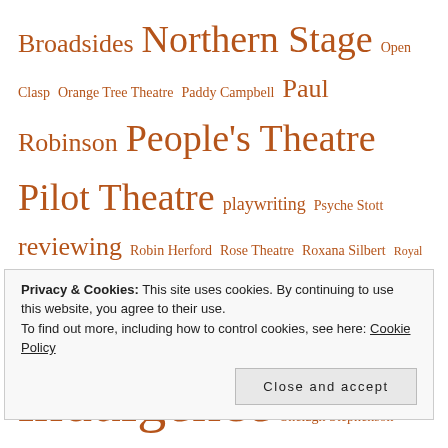Broadsides Northern Stage Open Clasp Orange Tree Theatre Paddy Campbell Paul Robinson People's Theatre Pilot Theatre playwriting Psyche Stott reviewing Robin Herford Rose Theatre Roxana Silbert Royal and Derngate Script submissions self-indulgence Shelagh Stephenson Sparkle and Dark Stephen Joseph Theatre Stephen Mallatratt television Theresa Heskins Three's Company Torben Betts Touring Consortium Theatre Company Vault Festival
Privacy & Cookies: This site uses cookies. By continuing to use this website, you agree to their use.
To find out more, including how to control cookies, see here: Cookie Policy